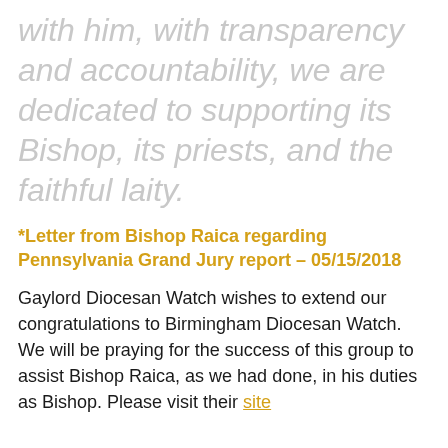with him, with transparency and accountability, we are dedicated to supporting its Bishop, its priests, and the faithful laity.
*Letter from Bishop Raica regarding Pennsylvania Grand Jury report – 05/15/2018
Gaylord Diocesan Watch wishes to extend our congratulations to Birmingham Diocesan Watch. We will be praying for the success of this group to assist Bishop Raica, as we had done, in his duties as Bishop. Please visit their site